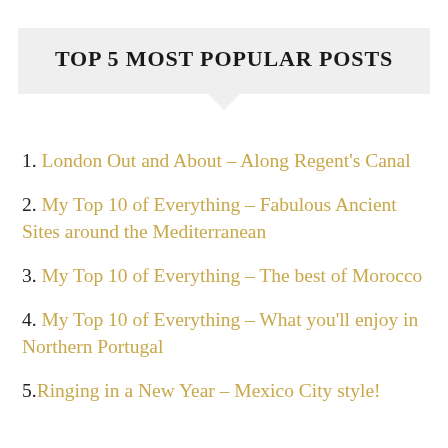TOP 5 MOST POPULAR POSTS
1. London Out and About – Along Regent's Canal
2. My Top 10 of Everything – Fabulous Ancient Sites around the Mediterranean
3. My Top 10 of Everything – The best of Morocco
4. My Top 10 of Everything – What you'll enjoy in Northern Portugal
5. Ringing in a New Year – Mexico City style!